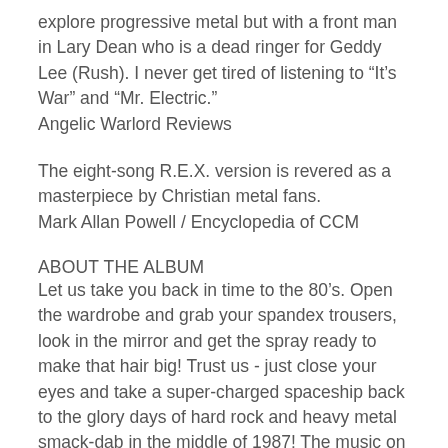explore progressive metal but with a front man in Lary Dean who is a dead ringer for Geddy Lee (Rush). I never get tired of listening to “It’s War” and “Mr. Electric.” Angelic Warlord Reviews
The eight-song R.E.X. version is revered as a masterpiece by Christian metal fans. Mark Allan Powell / Encyclopedia of CCM
ABOUT THE ALBUM
Let us take you back in time to the 80’s. Open the wardrobe and grab your spandex trousers, look in the mirror and get the spray ready to make that hair big! Trust us - just close your eyes and take a super-charged spaceship back to the glory days of hard rock and heavy metal smack-dab in the middle of 1987! The music on Celestial Messenger is exquisite - featuring thundering bass lines, wickedly righteous guitar riffing, and drumming perfection while all being tied together with the silky-sweet Geddy Lee inspired vocals of Lary